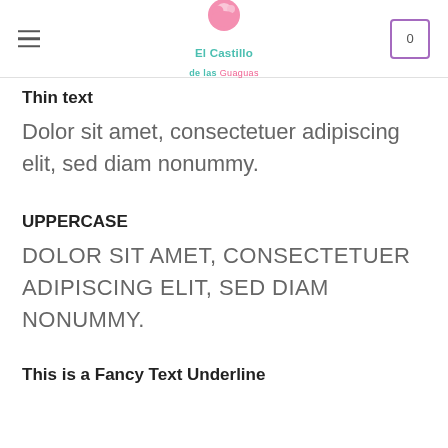El Castillo de las Guaguas
Thin text
Dolor sit amet, consectetuer adipiscing elit, sed diam nonummy.
UPPERCASE
DOLOR SIT AMET, CONSECTETUER ADIPISCING ELIT, SED DIAM NONUMMY.
This is a Fancy Text Underline